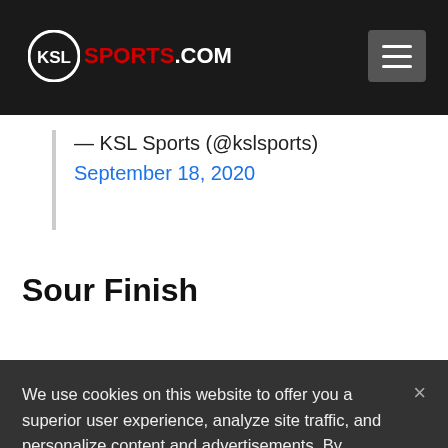KSL SPORTS.COM
— KSL Sports (@kslsports)
September 18, 2020
Sour Finish
We use cookies on this website to offer you a superior user experience, analyze site traffic, and personalize content and advertisements. By continuing to use our site, you consent to our use of cookies. Please visit our Privacy Policy for more information.
Accept Cookies